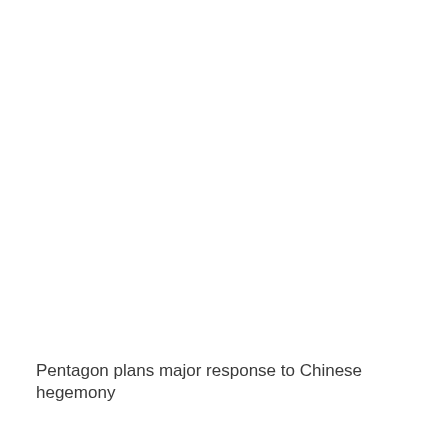Pentagon plans major response to Chinese hegemony